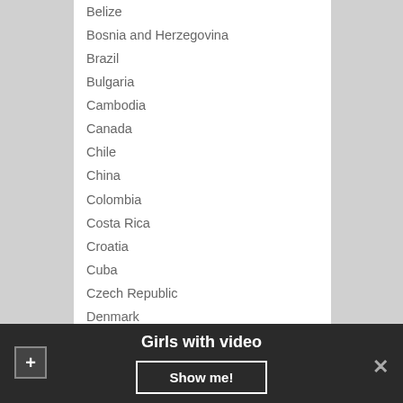Belize
Bosnia and Herzegovina
Brazil
Bulgaria
Cambodia
Canada
Chile
China
Colombia
Costa Rica
Croatia
Cuba
Czech Republic
Denmark
Dominican Republic
Egypt
England
Estonia
Finland
Girls with video
Show me!